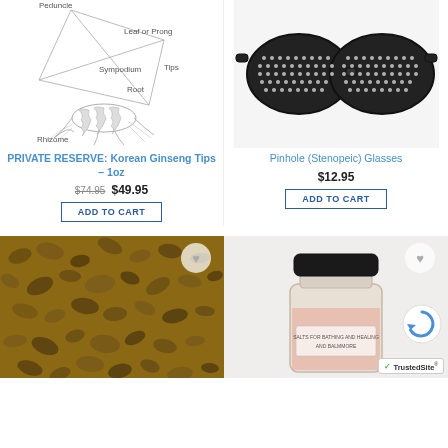[Figure (illustration): Diagram of Korean Ginseng plant parts: Peduncle, Leaf or Prong, Sympodium, Root, Tips, Rhizome]
[Figure (photo): Black pinhole (stenopeic) glasses with many small holes across the lenses]
PRIVATE RESERVE: Korean Ginseng Tips – 1oz
Pinhole (Stenopeic) Glasses
$74.95  $49.95
$12.95
ADD TO CART
ADD TO CART
[Figure (photo): Brown dried mushroom or herb pieces scattered]
[Figure (photo): Glass jar with black lid containing pink salt or similar substance, with a label]